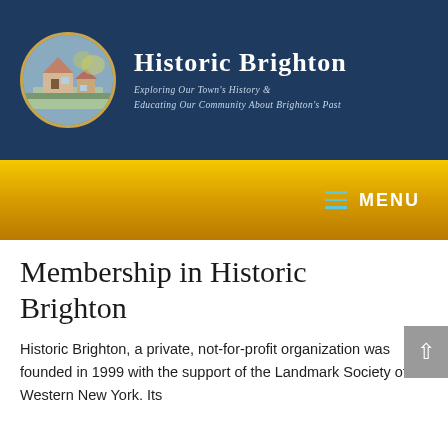Historic Brighton — Exploring Our Town's History & Educating Our Community About Brighton's Past
[Figure (logo): Oval logo with an impressionist painting of a historic house/building scene]
Membership in Historic Brighton
Historic Brighton, a private, not-for-profit organization was founded in 1999 with the support of the Landmark Society of Western New York. Its